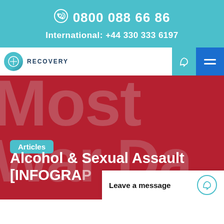0800 088 66 86
International: +44 330 333 6197
[Figure (screenshot): Navigation bar with Rehab Recovery logo on the left, phone icon and blue hamburger menu button on the right]
[Figure (infographic): Dark red hero section with large faded text 'Most War Da' in background, Articles badge in teal, and article title 'Alcohol & Sexual Assault [INFOGRA...' in white bold text at the bottom]
Leave a message